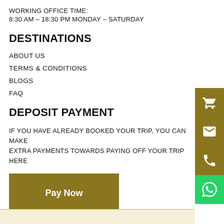WORKING OFFICE TIME:
8:30 AM – 18:30 PM MONDAY – SATURDAY
DESTINATIONS
ABOUT US
TERMS & CONDITIONS
BLOGS
FAQ
DEPOSIT PAYMENT
IF YOU HAVE ALREADY BOOKED YOUR TRIP, YOU CAN MAKE EXTRA PAYMENTS TOWARDS PAYING OFF YOUR TRIP HERE
Pay Now
SIGN UP TO OUR NEWSLETTER